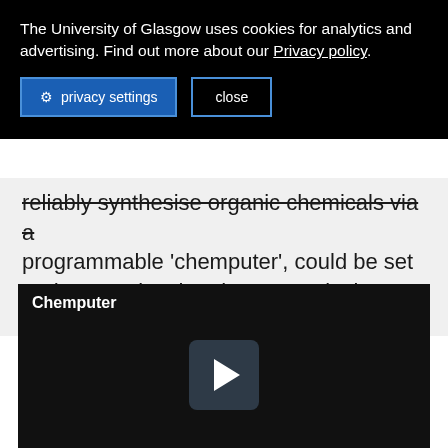The University of Glasgow uses cookies for analytics and advertising. Find out more about our Privacy policy.
privacy settings   close
reliably synthesise organic chemicals via a programmable 'chemputer', could be set to democratise the pharmaceutical industry, scientists say.
[Figure (screenshot): Video player with black background showing title 'Chemputer' and a play button icon in the center]